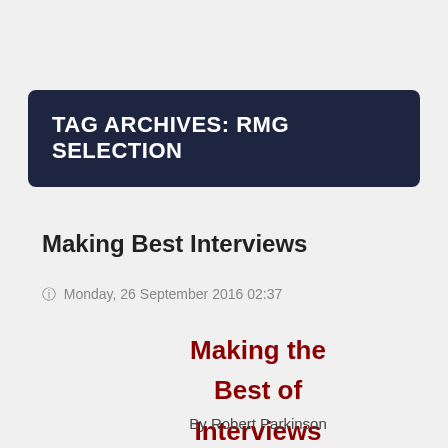TAG ARCHIVES: RMG SELECTION
Making Best Interviews
Monday, 26 September 2016 02:37
Making the Best of Interviews
By Robert Parkinson